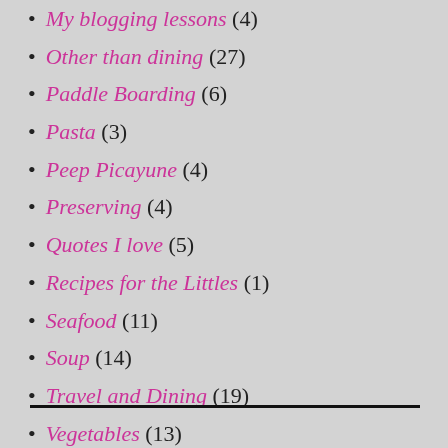My blogging lessons (4)
Other than dining (27)
Paddle Boarding (6)
Pasta (3)
Peep Picayune (4)
Preserving (4)
Quotes I love (5)
Recipes for the Littles (1)
Seafood (11)
Soup (14)
Travel and Dining (19)
Vegetables (13)
Waste Not Want Not (12)